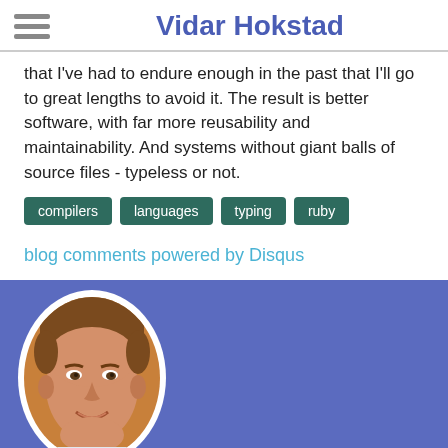Vidar Hokstad
that I've had to endure enough in the past that I'll go to great lengths to avoid it. The result is better software, with far more reusability and maintainability. And systems without giant balls of source files - typeless or not.
compilers
languages
typing
ruby
blog comments powered by Disqus
[Figure (photo): Portrait photo of Vidar Hokstad in an oval frame against a blue/purple background]